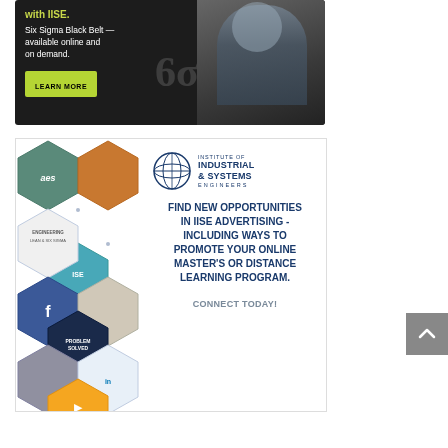[Figure (illustration): Dark background advertisement banner for IISE Six Sigma Black Belt online course. Text reads 'with IISE.' and 'Six Sigma Black Belt — available online and on demand.' with a LEARN MORE button and Six Sigma symbol. Shows a businessman in background.]
[Figure (illustration): IISE advertising promotional banner. Left side shows hexagonal pattern with social media icons (Facebook, LinkedIn, YouTube), AES logo, IISE magazine covers, and 'Problem Solved' badge. Right side shows Institute of Industrial & Systems Engineers logo and bold text: 'FIND NEW OPPORTUNITIES IN IISE ADVERTISING - INCLUDING WAYS TO PROMOTE YOUR ONLINE MASTER'S OR DISTANCE LEARNING PROGRAM.' with 'CONNECT TODAY!' call to action.]